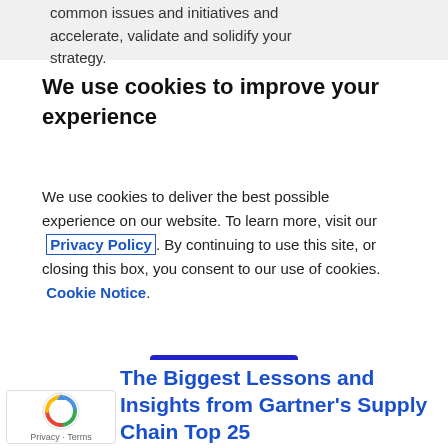common issues and initiatives and accelerate, validate and solidify your strategy.
We use cookies to improve your experience
We use cookies to deliver the best possible experience on our website. To learn more, visit our Privacy Policy. By continuing to use this site, or closing this box, you consent to our use of cookies. Cookie Notice.
Accept
The Biggest Lessons and Insights from Gartner's Supply Chain Top 25